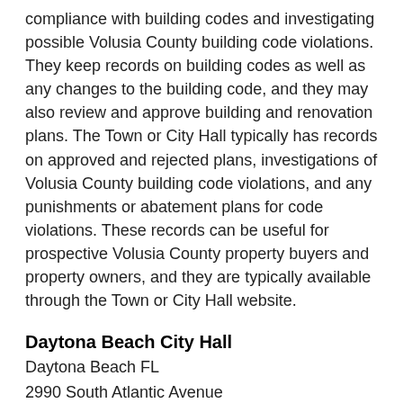compliance with building codes and investigating possible Volusia County building code violations. They keep records on building codes as well as any changes to the building code, and they may also review and approve building and renovation plans. The Town or City Hall typically has records on approved and rejected plans, investigations of Volusia County building code violations, and any punishments or abatement plans for code violations. These records can be useful for prospective Volusia County property buyers and property owners, and they are typically available through the Town or City Hall website.
Daytona Beach City Hall
Daytona Beach FL
2990 South Atlantic Avenue
32118
386-763-5353
Suggest Edit
Debary City Hall
DeBary FL
137 U.s. 17
32713